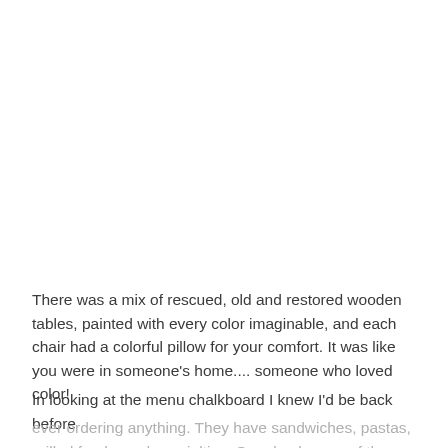There was a mix of rescued, old and restored wooden tables, painted with every color imaginable, and each chair had a colorful pillow for your comfort. It was like you were in someone's home.... someone who loved color!
In looking at the menu chalkboard I knew I'd be back before ever ordering anything. They have sandwiches, pastas, grilled foods, and specialties. On a back page of the menu,